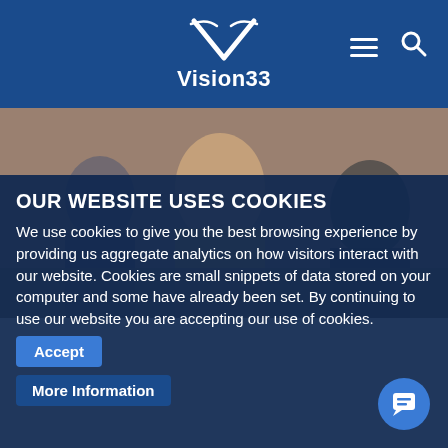Vision33
OUR WEBSITE USES COOKIES
We use cookies to give you the best browsing experience by providing us aggregate analytics on how visitors interact with our website. Cookies are small snippets of data stored on your computer and some have already been set. By continuing to use our website you are accepting our use of cookies.
Accept
More Information